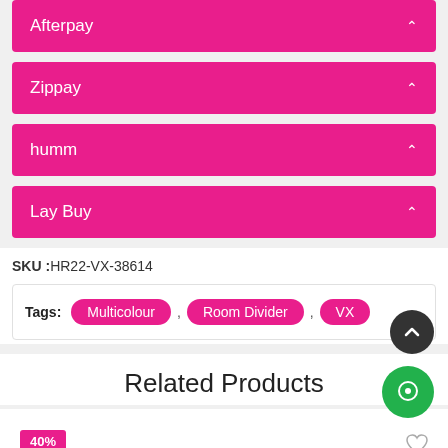Afterpay
Zippay
humm
Lay Buy
SKU :HR22-VX-38614
Tags: Multicolour , Room Divider , VX
Related Products
40%